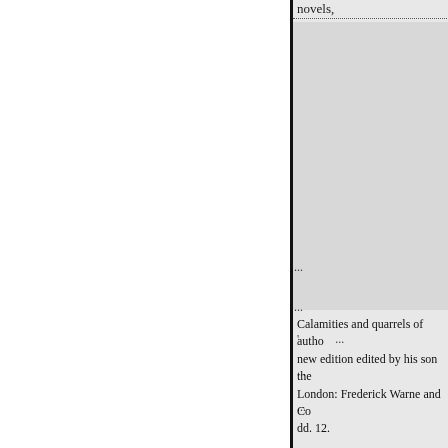novels,
' ...
...
...
...
...
Calamities and quarrels of autho new edition edited by his son the London: Frederick Warne and Co dd. 12.
1883. See 1859.
The wondrous tale of Alroy. 2